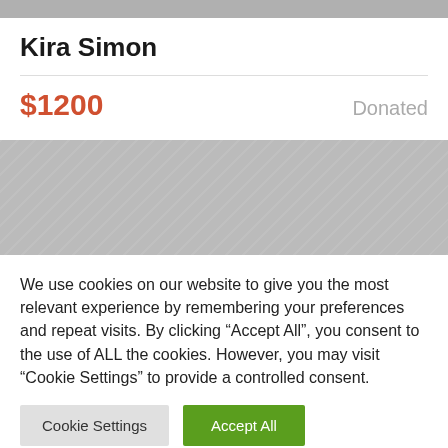Kira Simon
$1200   Donated
[Figure (photo): Gray placeholder image block]
We use cookies on our website to give you the most relevant experience by remembering your preferences and repeat visits. By clicking “Accept All”, you consent to the use of ALL the cookies. However, you may visit "Cookie Settings" to provide a controlled consent.